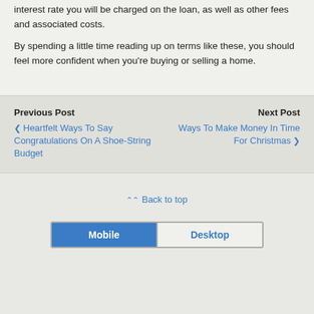interest rate you will be charged on the loan, as well as other fees and associated costs.
By spending a little time reading up on terms like these, you should feel more confident when you’re buying or selling a home.
Previous Post
❮ Heartfelt Ways To Say Congratulations On A Shoe-String Budget
Next Post
Ways To Make Money In Time For Christmas ❯
⌃⌃ Back to top
Mobile | Desktop